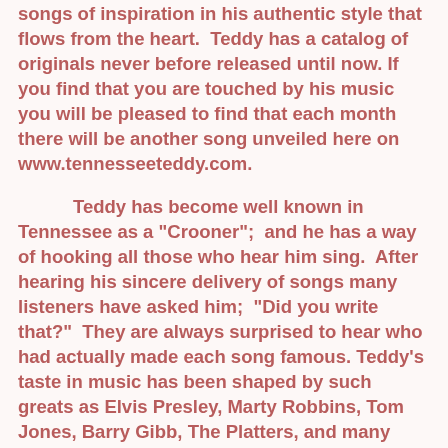songs of inspiration in his authentic style that flows from the heart.  Teddy has a catalog of originals never before released until now. If you find that you are touched by his music you will be pleased to find that each month there will be another song unveiled here on www.tennesseeteddy.com.
Teddy has become well known in Tennessee as a "Crooner";  and he has a way of hooking all those who hear him sing.  After hearing his sincere delivery of songs many listeners have asked him;  "Did you write that?"  They are always surprised to hear who had actually made each song famous. Teddy's taste in music has been shaped by such greats as Elvis Presley, Marty Robbins, Tom Jones, Barry Gibb, The Platters, and many many more.
Lastly something about Tennessee Teddy the person in his own words.